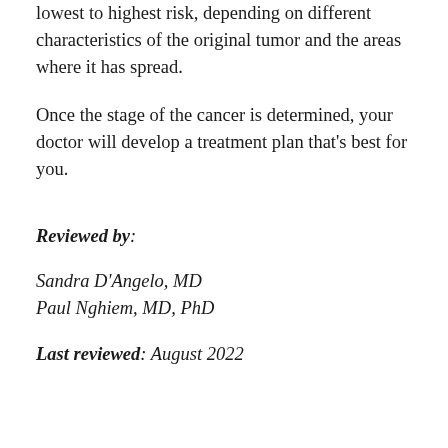lowest to highest risk, depending on different characteristics of the original tumor and the areas where it has spread.
Once the stage of the cancer is determined, your doctor will develop a treatment plan that's best for you.
Reviewed by:
Sandra D'Angelo, MD
Paul Nghiem, MD, PhD
Last reviewed: August 2022